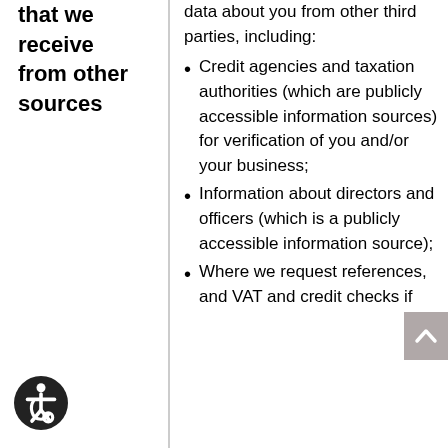that we receive from other sources
data about you from other third parties, including:
Credit agencies and taxation authorities (which are publicly accessible information sources) for verification of you and/or your business;
Information about directors and officers (which is a publicly accessible information source);
Where we request references, and VAT and credit checks if